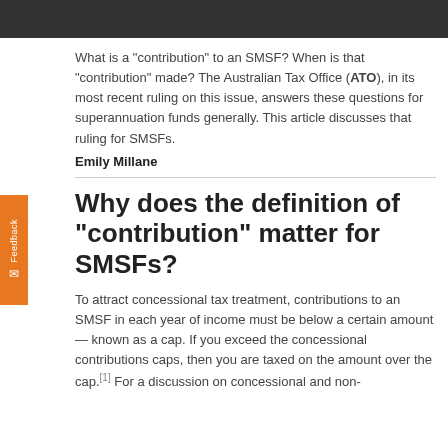What is a "contribution" to an SMSF? When is that "contribution" made? The Australian Tax Office (ATO), in its most recent ruling on this issue, answers these questions for superannuation funds generally. This article discusses that ruling for SMSFs.
Emily Millane
Why does the definition of "contribution" matter for SMSFs?
To attract concessional tax treatment, contributions to an SMSF in each year of income must be below a certain amount — known as a cap. If you exceed the concessional contributions caps, then you are taxed on the amount over the cap.[1] For a discussion on concessional and non-